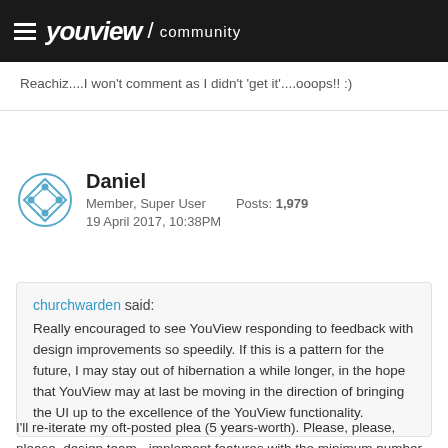youview / community
Reachiz....I won't comment as I didn't 'get it'....ooops!! :)
Daniel
Member, Super User    Posts: 1,979
19 April 2017, 10:38PM
churchwarden said:
Really encouraged to see YouView responding to feedback with design improvements so speedily. If this is a pattern for the future, I may stay out of hibernation a while longer, in the hope that YouView may at last be moving in the direction of bringing the UI up to the excellence of the YouView functionality.
I'll re-iterate my oft-posted plea (5 years-worth). Please, please, please, design team - implement features with the minimum number of key-presses. Careful thought at the design stage can usually reduce the number of key